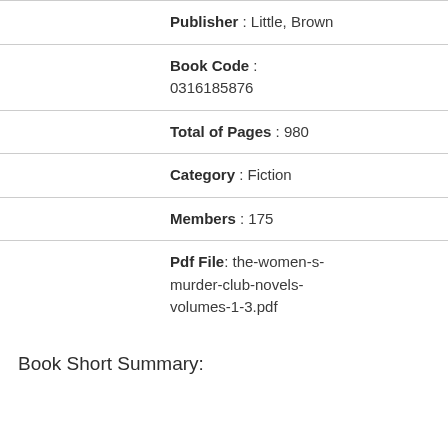Publisher : Little, Brown
Book Code : 0316185876
Total of Pages : 980
Category : Fiction
Members : 175
Pdf File: the-women-s-murder-club-novels-volumes-1-3.pdf
Book Short Summary: